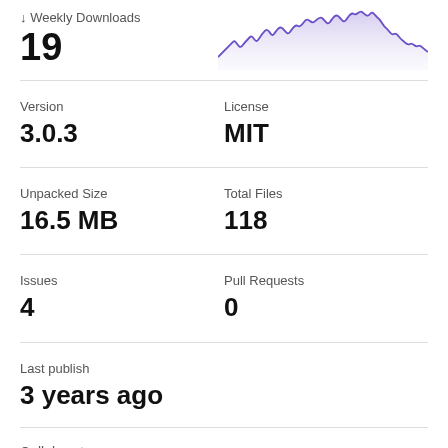↓ Weekly Downloads
19
[Figure (area-chart): Weekly downloads area chart with purple line and light purple fill, showing fluctuating download counts over time]
Version
3.0.3
License
MIT
Unpacked Size
16.5 MB
Total Files
118
Issues
4
Pull Requests
0
Last publish
3 years ago
Collaborators